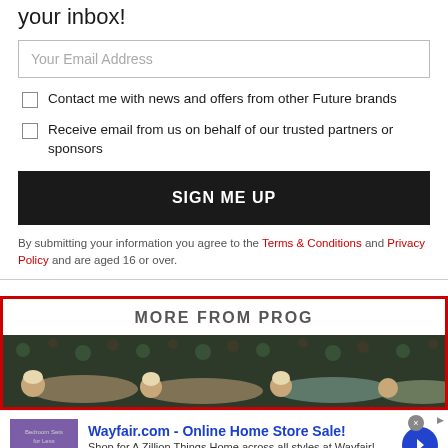your inbox!
Your Email Address
Contact me with news and offers from other Future brands
Receive email from us on behalf of our trusted partners or sponsors
SIGN ME UP
By submitting your information you agree to the Terms & Conditions and Privacy Policy and are aged 16 or over.
MORE FROM PROG
[Figure (photo): Women lying down on a floral patterned background, viewed from above]
[Figure (screenshot): Advertisement for Wayfair.com - Online Home Store Sale! with purple thumbnail showing bedroom sets, blue title, description text, green URL, and blue circular arrow button]